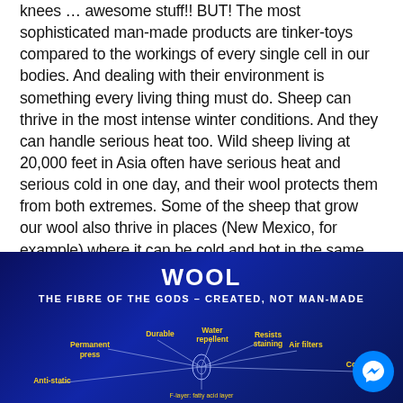knees … awesome stuff!! BUT! The most sophisticated man-made products are tinker-toys compared to the workings of every single cell in our bodies. And dealing with their environment is something every living thing must do. Sheep can thrive in the most intense winter conditions. And they can handle serious heat too. Wild sheep living at 20,000 feet in Asia often have serious heat and serious cold in one day, and their wool protects them from both extremes. Some of the sheep that grow our wool also thrive in places (New Mexico, for example) where it can be cold and hot in the same day. And WeatherWool Fabric enables us to do the same.
[Figure (infographic): Wool infographic banner with dark blue background. Title: WOOL. Subtitle: THE FIBRE OF THE GODS - CREATED, NOT MAN-MADE. Diagram showing wool properties: Permanent press, Durable, Water repellent, Resists staining, Air filters, Controlled, Anti-static, F-layer: fatty acid layer. Yellow labels connected by lines to a central wool fiber diagram.]